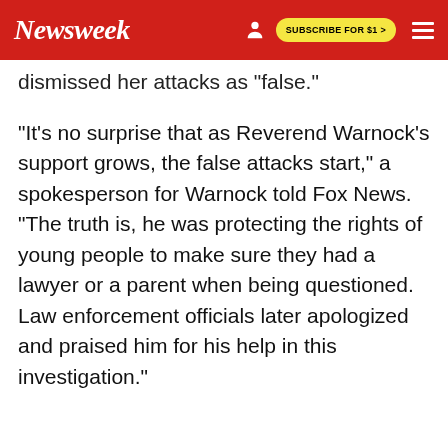Newsweek | SUBSCRIBE FOR $1 >
dismissed her attacks as 'false.'
"It's no surprise that as Reverend Warnock's support grows, the false attacks start," a spokesperson for Warnock told Fox News. "The truth is, he was protecting the rights of young people to make sure they had a lawyer or a parent when being questioned. Law enforcement officials later apologized and praised him for his help in this investigation."